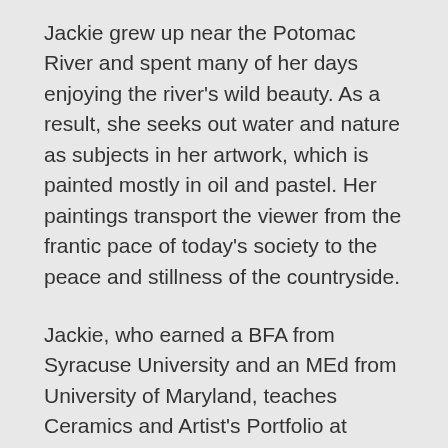Jackie grew up near the Potomac River and spent many of her days enjoying the river's wild beauty. As a result, she seeks out water and nature as subjects in her artwork, which is painted mostly in oil and pastel. Her paintings transport the viewer from the frantic pace of today's society to the peace and stillness of the countryside.
Jackie, who earned a BFA from Syracuse University and an MEd from University of Maryland, teaches Ceramics and Artist's Portfolio at Foxcroft. She also runs the Silver Moth Studio, which offers summer classes in a variety of studio arts at Foxcroft.